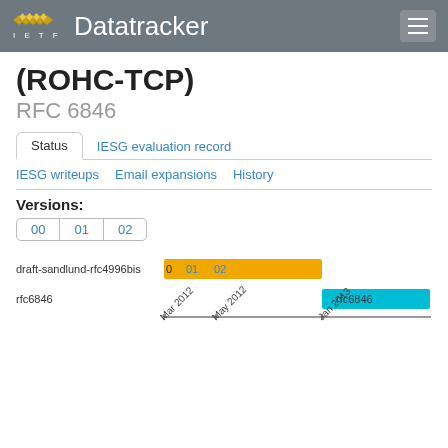IETF Datatracker
(ROHC-TCP)
RFC 6846
Status | IESG evaluation record | IESG writeups | Email expansions | History
Versions:
00  01  02
[Figure (bar-chart): Draft timeline]